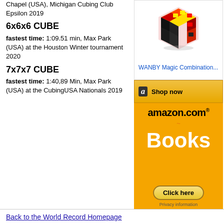Chapel (USA), Michigan Cubing Club Epsilon 2019
6x6x6 CUBE
fastest time: 1:09.51 min, Max Park (USA) at the Houston Winter tournament 2020
7x7x7 CUBE
fastest time: 1:40,89 Min, Max Park (USA) at the CubingUSA Nationals 2019
[Figure (photo): Colorful Rubik's cube style puzzle graphic]
[Figure (other): Amazon advertisement banner for Books with Shop now button]
Back to the World Record Homepage